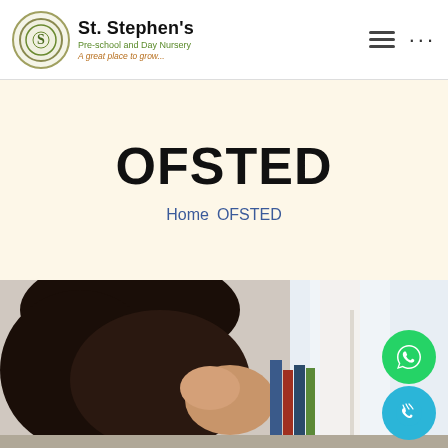St. Stephen's Pre-school and Day Nursery — A great place to grow...
OFSTED
Home  OFSTED
[Figure (photo): Person with dark hair bent over books/studying at a desk with bookshelves in background]
[Figure (logo): WhatsApp floating button (green circle with phone handset icon)]
[Figure (logo): Phone call floating button (cyan circle with phone/wifi icon)]